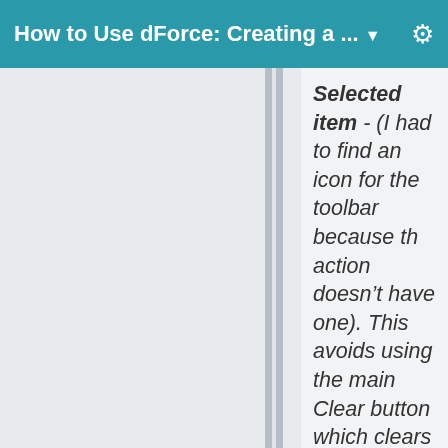How to Use dForce: Creating a ... ▾ ⚙
Selected item - (I had to find an icon for the toolbar because th action doesn't have one). This avoids using the main Clear button which clears everything (including frozen items). This is saving